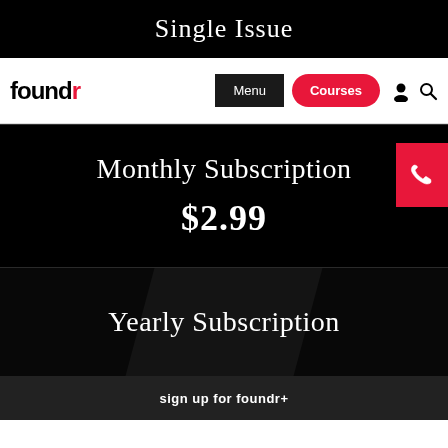Single Issue
[Figure (screenshot): Foundr website navigation bar with logo, Menu button, Courses button, user icon and search icon]
Monthly Subscription
$2.99
Yearly Subscription
sign up for foundr+